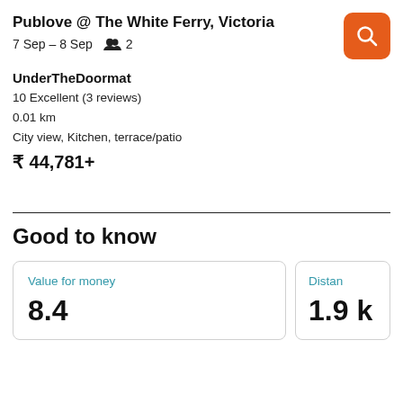Publove @ The White Ferry, Victoria
7 Sep – 8 Sep   2
UnderTheDoormat
10 Excellent (3 reviews)
0.01 km
City view, Kitchen, terrace/patio
₹ 44,781+
Good to know
Value for money
8.4
Distan
1.9 k